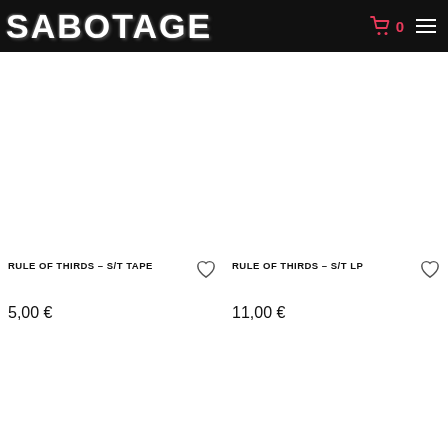SABOTAGE
RULE OF THIRDS - S/T TAPE
5,00 €
RULE OF THIRDS - S/T LP
11,00 €